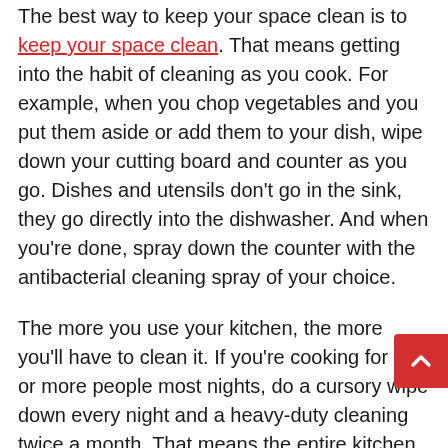The best way to keep your space clean is to keep your space clean. That means getting into the habit of cleaning as you cook. For example, when you chop vegetables and you put them aside or add them to your dish, wipe down your cutting board and counter as you go. Dishes and utensils don't go in the sink, they go directly into the dishwasher. And when you're done, spray down the counter with the antibacterial cleaning spray of your choice.
The more you use your kitchen, the more you'll have to clean it. If you're cooking for two or more people most nights, do a cursory wipe down every night and a heavy-duty cleaning twice a month. That means the entire kitchen counter, so you're going to get underneath and behind the coffee maker, toaster oven and whatever else you keep on your counters. Move all into another room and spray down the entire counter and clean the floors. Clean your oven as often as necessary.